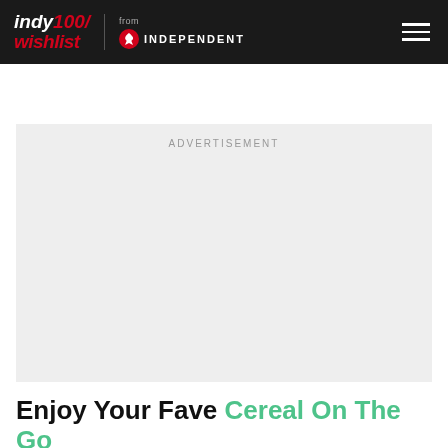indy100/wishlist from INDEPENDENT
[Figure (other): Advertisement placeholder box with light grey background and 'ADVERTISEMENT' label text]
Enjoy Your Fave Cereal On The Go